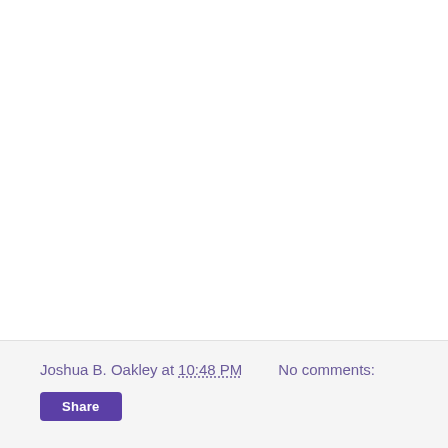Joshua B. Oakley at 10:48 PM   No comments:
Share